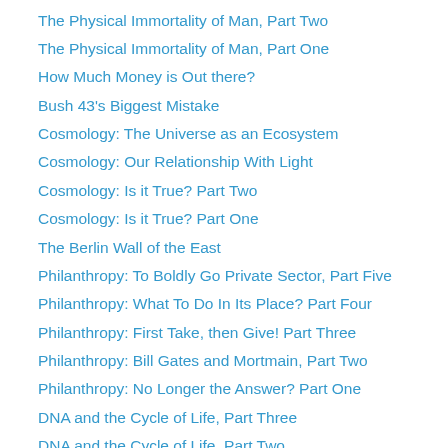The Physical Immortality of Man, Part Two
The Physical Immortality of Man, Part One
How Much Money is Out there?
Bush 43's Biggest Mistake
Cosmology: The Universe as an Ecosystem
Cosmology: Our Relationship With Light
Cosmology: Is it True? Part Two
Cosmology: Is it True? Part One
The Berlin Wall of the East
Philanthropy: To Boldly Go Private Sector, Part Five
Philanthropy: What To Do In Its Place? Part Four
Philanthropy: First Take, then Give! Part Three
Philanthropy: Bill Gates and Mortmain, Part Two
Philanthropy: No Longer the Answer? Part One
DNA and the Cycle of Life, Part Three
DNA and the Cycle of Life, Part Two
DNA and the Cycle of Life, Part One
Global Warming, Part Four
Global Warming, Part Three
Global Warming, Part Two